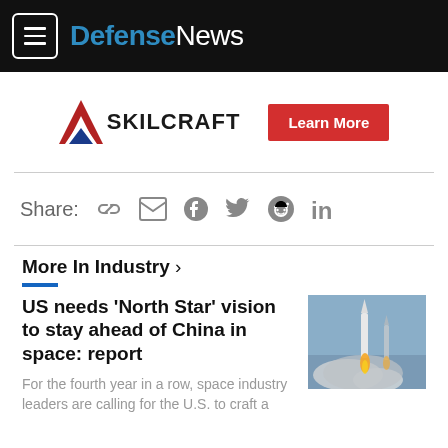DefenseNews
[Figure (logo): SKILCRAFT logo with red/blue chevron and 'Learn More' red button]
Share:
More In Industry >
US needs ‘North Star’ vision to stay ahead of China in space: report
For the fourth year in a row, space industry leaders are calling for the U.S. to craft a
[Figure (photo): Rocket launch with smoke and flames against grey sky]